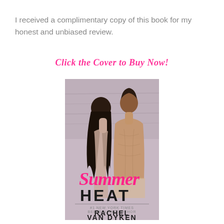I received a complimentary copy of this book for my honest and unbiased review.
Click the Cover to Buy Now!
[Figure (illustration): Book cover for 'Summer Heat' by Rachel Van Dyken (#1 New York Times Bestselling Author). Black and white photo of a woman with long dark hair and a shirtless man standing back to back near water, with 'Summer HEAT' title in pink/black lettering and author name at bottom.]